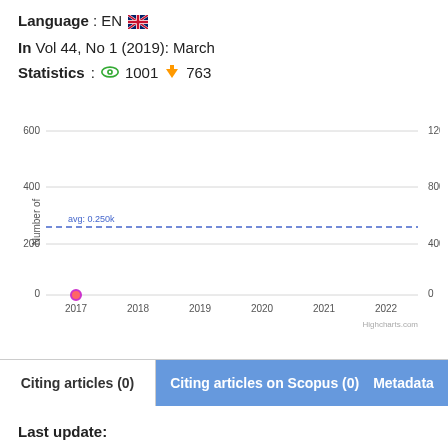Language : EN 🇬🇧
In Vol 44, No 1 (2019): March
Statistics: 👁 1001 ⬇ 763
[Figure (line-chart): Line chart showing views per year from 2017 to 2022, with avg: 0.250k dashed line. Single data point at 2017 near 0.]
Citing articles (0)
Citing articles on Scopus (0)
Metadata
Last update: